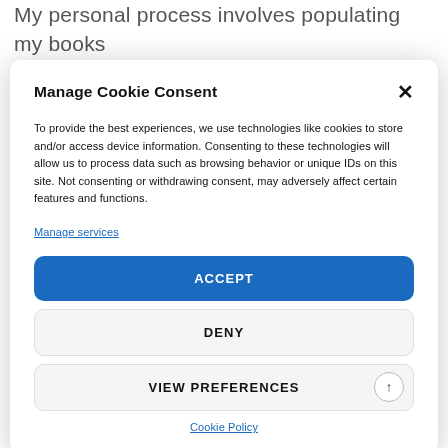My personal process involves populating my books with people who interest me. Much of the
Manage Cookie Consent
To provide the best experiences, we use technologies like cookies to store and/or access device information. Consenting to these technologies will allow us to process data such as browsing behavior or unique IDs on this site. Not consenting or withdrawing consent, may adversely affect certain features and functions.
Manage services
ACCEPT
DENY
VIEW PREFERENCES
Cookie Policy